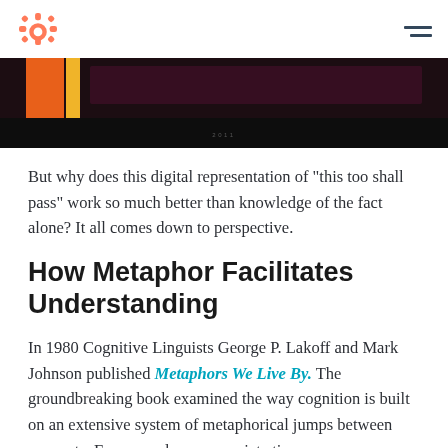HubSpot logo and navigation
[Figure (screenshot): Dark horizontal banner image with orange, yellow color blocks on left and dark purple/maroon bar across, with small text centered at bottom]
But why does this digital representation of "this too shall pass" work so much better than knowledge of the fact alone? It all comes down to perspective.
How Metaphor Facilitates Understanding
In 1980 Cognitive Linguists George P. Lakoff and Mark Johnson published Metaphors We Live By. The groundbreaking book examined the way cognition is built on an extensive system of metaphorical jumps between concepts. For example, we associate time